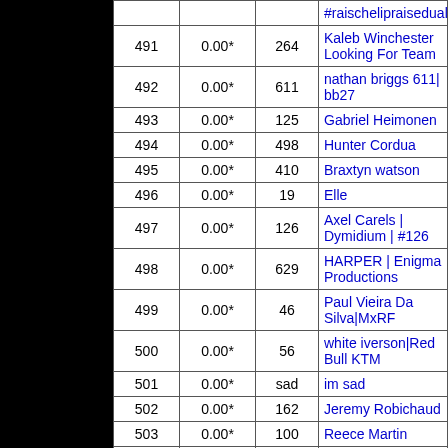| # | Score | ID | Name |
| --- | --- | --- | --- |
|  |  |  | #raischelipraiseduale |
| 491 | 0.00* | 264 | Kaleb Winchester Looking For Team |
| 492 | 0.00* | 611 | nathan briggs 611| bb27 |
| 493 | 0.00* | 125 | Gabriel Heimonen |
| 494 | 0.00* | 498 | Hunter Cordua |
| 495 | 0.00* | 410 | Braxtyn watson |
| 496 | 0.00* | 19 | Elle |
| 497 | 0.00* | 126 | Axel Carels | Dymidium | #126 |
| 498 | 0.00* | 629 | HARPER | Enigma Productions |
| 499 | 0.00* | 46 | Paul Vieira Da Silva|MxRF |
| 500 | 0.00* | 56 | white iverson|Red Bull KTM |
| 501 | 0.00* | sad | im sad |
| 502 | 0.00* | 162 | Jeremy Robichaud |
| 503 | 0.00* | 100 | Reece Martin |
| 504 | 0.00* | 77 | @LuccaMelody |